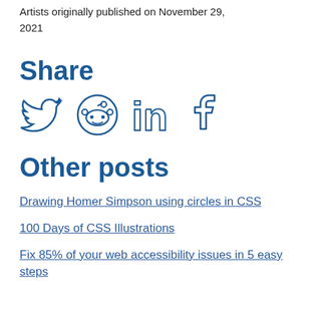Artists originally published on November 29, 2021
Share
[Figure (illustration): Social media share icons: Twitter bird, Reddit alien, LinkedIn 'in', Facebook 'f' — all in dark blue outline style]
Other posts
Drawing Homer Simpson using circles in CSS
100 Days of CSS Illustrations
Fix 85% of your web accessibility issues in 5 easy steps